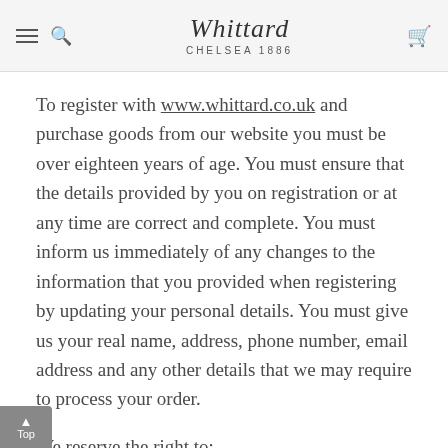Whittard CHELSEA 1886
To register with www.whittard.co.uk and purchase goods from our website you must be over eighteen years of age. You must ensure that the details provided by you on registration or at any time are correct and complete. You must inform us immediately of any changes to the information that you provided when registering by updating your personal details. You must give us your real name, address, phone number, email address and any other details that we may require to process your order.
We reserve the right to:
Decline a new customer registration or suspend a customer's account at any time and at our sole discretion.